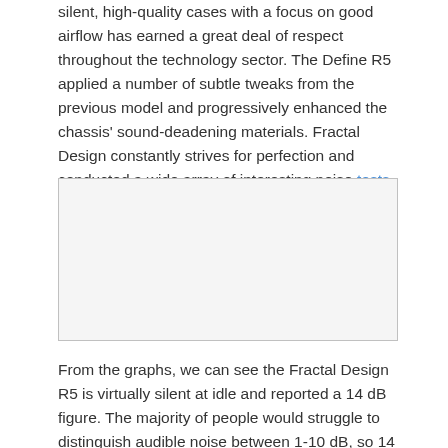silent, high-quality cases with a focus on good airflow has earned a great deal of respect throughout the technology sector. The Define R5 applied a number of subtle tweaks from the previous model and progressively enhanced the chassis' sound-deadening materials. Fractal Design constantly strives for perfection and conducted a wide array of interesting noise tests in the world's quietest room.
[Figure (photo): Empty image placeholder box with light gray background and border]
From the graphs, we can see the Fractal Design R5 is virtually silent at idle and reported a 14 dB figure. The majority of people would struggle to distinguish audible noise between 1-10 dB, so 14 is remarkably quiet. Even under full load, the case only ramps up to 21.2 dB and